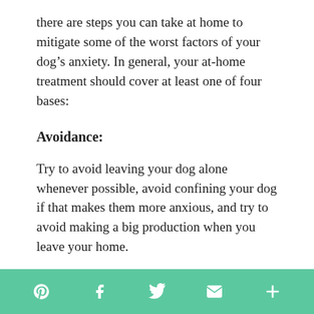there are steps you can take at home to mitigate some of the worst factors of your dog’s anxiety. In general, your at-home treatment should cover at least one of four bases:
Avoidance:
Try to avoid leaving your dog alone whenever possible, avoid confining your dog if that makes them more anxious, and try to avoid making a big production when you leave your home.
Social share icons: Pinterest, Facebook, Twitter, Email, More